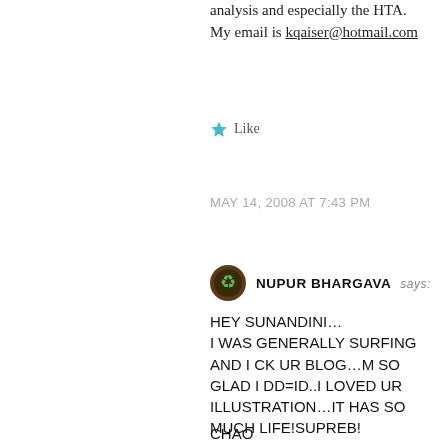analysis and especially the HTA. My email is kqaiser@hotmail.com
Like
MAY 14, 2008 AT 7:43 PM
NUPUR BHARGAVA says: HEY SUNANDINI… I WAS GENERALLY SURFING AND I CK UR BLOG…M SO GLAD I DD=ID..I LOVED UR ILLUSTRATION…IT HAS SO MUCH LIFE!SUPREB!
CHAO